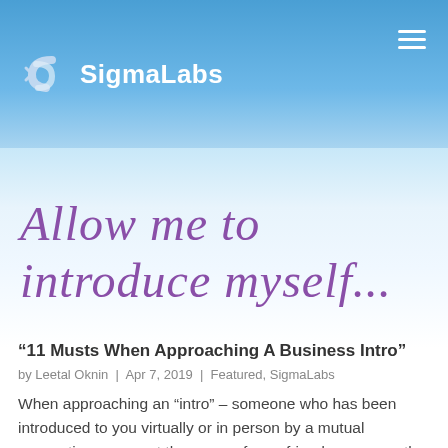SigmaLabs
[Figure (illustration): Handwritten-style purple cursive text reading 'Allow me to introduce myself...' on a light blue gradient background]
“11 Musts When Approaching A Business Intro”
by Leetal Oknin | Apr 7, 2019 | Featured, SigmaLabs
When approaching an “intro” – someone who has been introduced to you virtually or in person by a mutual connection – you put the name of your friend or peer on the line as well as your own. A bad first impression not only